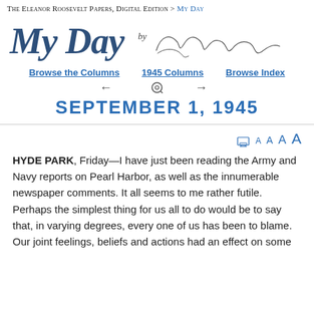The Eleanor Roosevelt Papers, Digital Edition > My Day
My Day by Eleanor Roosevelt
Browse the Columns   1945 Columns   Browse Index
← 🔍 →
SEPTEMBER 1, 1945
🖨 A A A A
HYDE PARK, Friday—I have just been reading the Army and Navy reports on Pearl Harbor, as well as the innumerable newspaper comments. It all seems to me rather futile. Perhaps the simplest thing for us all to do would be to say that, in varying degrees, every one of us has been to blame. Our joint feelings, beliefs and actions had an effect on some